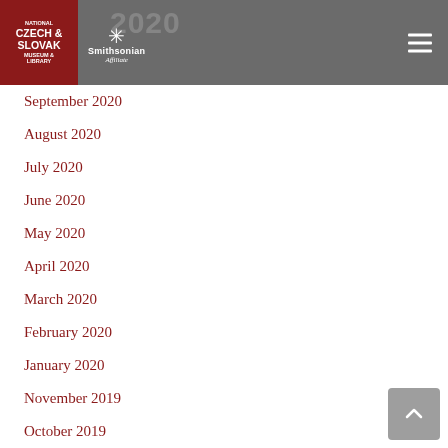National Czech & Slovak Museum & Library | Smithsonian Affiliate
September 2020
August 2020
July 2020
June 2020
May 2020
April 2020
March 2020
February 2020
January 2020
November 2019
October 2019
September 2019
August 2019